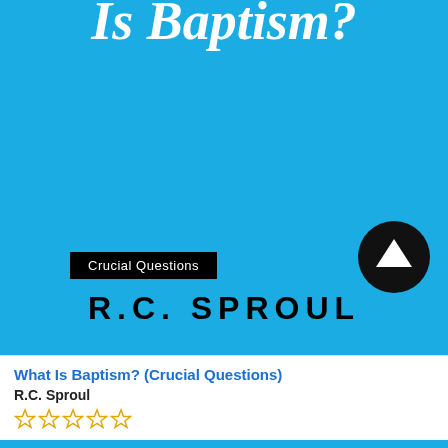[Figure (illustration): Book cover of 'What Is Baptism?' by R.C. Sproul, part of the Crucial Questions series. Teal/blue background with white serif title text at top partially cropped, a black badge reading 'Crucial Questions', and bold black author name 'R.C. SPROUL' in spaced capitals.]
What Is Baptism? (Crucial Questions)
R.C. Sproul
☆☆☆☆☆